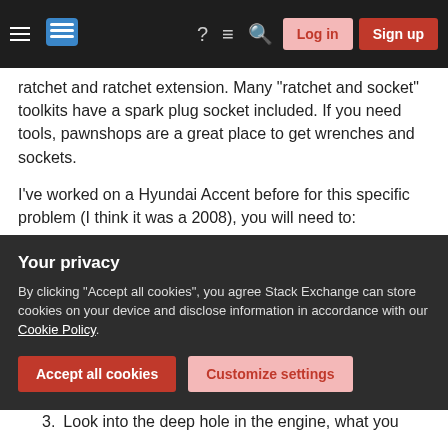Stack Exchange navigation bar with hamburger menu, logo, help, chat, search icons, Log in and Sign up buttons
ratchet and ratchet extension. Many "ratchet and socket" toolkits have a spark plug socket included. If you need tools, pawnshops are a great place to get wrenches and sockets.
I've worked on a Hyundai Accent before for this specific problem (I think it was a 2008), you will need to:
1. Remove the plastic engine cover (I think the bolts are 10 mm)
2. Those 4 black things are the coils, twist and
Your privacy
By clicking "Accept all cookies", you agree Stack Exchange can store cookies on your device and disclose information in accordance with our Cookie Policy.
Accept all cookies   Customize settings
3. Look into the deep hole in the engine, what you